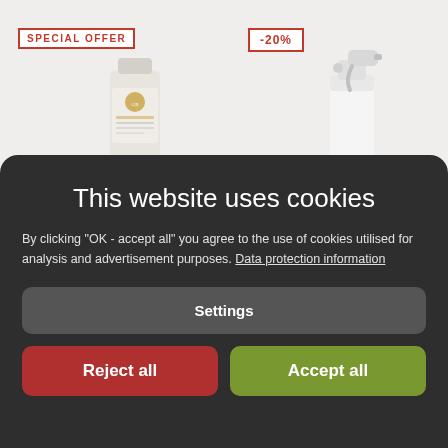[Figure (screenshot): E-commerce product page background showing two products: a Golden Rose face care cream with 'SPECIAL OFFER' badge and a white spray bottle with '-20%' badge]
SPECIAL OFFER
-20%
This website uses cookies
By clicking "OK - accept all" you agree to the use of cookies utilised for analysis and advertisement purposes. Data protection information
Settings
Reject all
Accept all